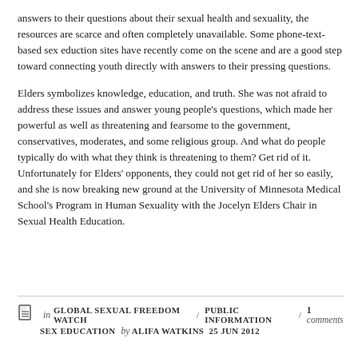answers to their questions about their sexual health and sexuality, the resources are scarce and often completely unavailable. Some phone-text-based sex eduction sites have recently come on the scene and are a good step toward connecting youth directly with answers to their pressing questions.
Elders symbolizes knowledge, education, and truth. She was not afraid to address these issues and answer young people's questions, which made her powerful as well as threatening and fearsome to the government, conservatives, moderates, and some religious group. And what do people typically do with what they think is threatening to them? Get rid of it. Unfortunately for Elders' opponents, they could not get rid of her so easily, and she is now breaking new ground at the University of Minnesota Medical School's Program in Human Sexuality with the Jocelyn Elders Chair in Sexual Health Education.
in GLOBAL SEXUAL FREEDOM WATCH / PUBLIC INFORMATION / SEX EDUCATION  by ALIFA WATKINS 25 JUN 2012   1 comments